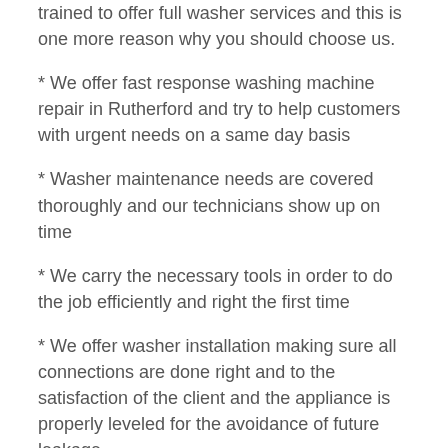trained to offer full washer services and this is one more reason why you should choose us.
* We offer fast response washing machine repair in Rutherford and try to help customers with urgent needs on a same day basis
* Washer maintenance needs are covered thoroughly and our technicians show up on time
* We carry the necessary tools in order to do the job efficiently and right the first time
* We offer washer installation making sure all connections are done right and to the satisfaction of the client and the appliance is properly leveled for the avoidance of future leakage